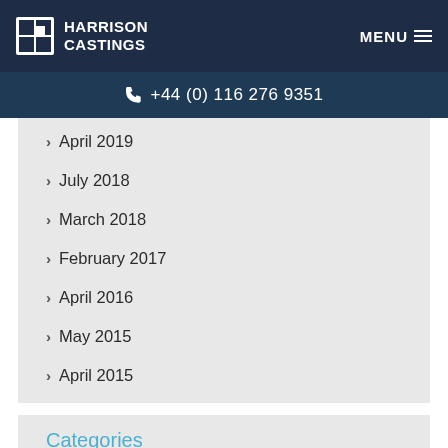HARRISON CASTINGS | MENU
+44 (0) 116 276 9351
April 2019
July 2018
March 2018
February 2017
April 2016
May 2015
April 2015
Categories
Aluminium Casting
From the Archives